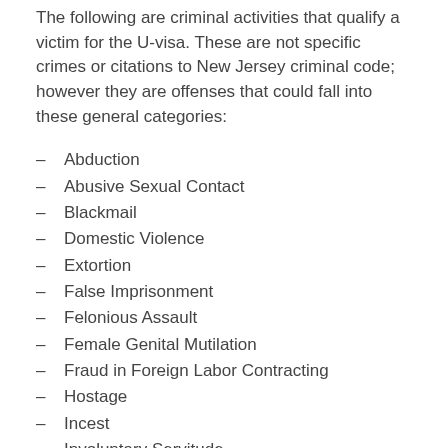The following are criminal activities that qualify a victim for the U-visa. These are not specific crimes or citations to New Jersey criminal code; however they are offenses that could fall into these general categories:
Abduction
Abusive Sexual Contact
Blackmail
Domestic Violence
Extortion
False Imprisonment
Felonious Assault
Female Genital Mutilation
Fraud in Foreign Labor Contracting
Hostage
Incest
Involuntary Servitude
Kidnapping